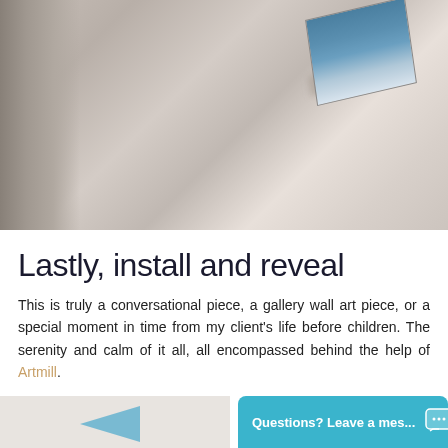[Figure (photo): A blurred close-up photo of a framed artwork (blue/teal ocean scene) mounted on a light beige wall, with a shadow visible on the left wall.]
Lastly, install and reveal
This is truly a conversational piece, a gallery wall art piece, or a special moment in time from my client's life before children. The serenity and calm of it all, all encompassed behind the help of Artmill.